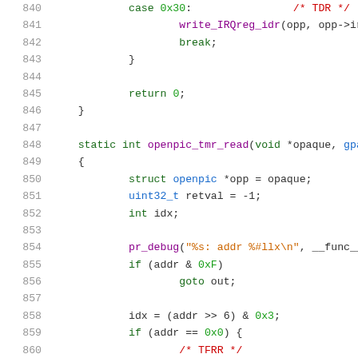[Figure (screenshot): Source code listing in a code editor showing C code for openpic timer functions, lines 840-860, with syntax highlighting. Keywords in green, function names in purple, strings in orange, comments in red, variable names in blue.]